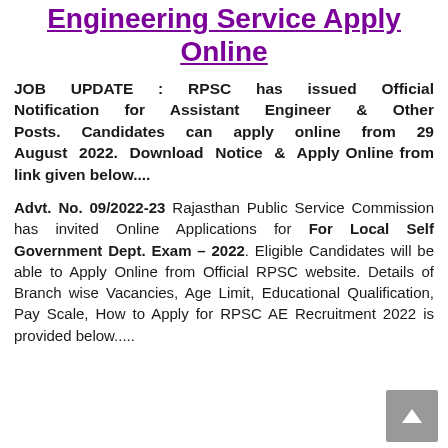Engineering Service Apply Online
JOB UPDATE : RPSC has issued Official Notification for Assistant Engineer & Other Posts. Candidates can apply online from 29 August 2022. Download Notice & Apply Online from link given below....
Advt. No. 09/2022-23 Rajasthan Public Service Commission has invited Online Applications for For Local Self Government Dept. Exam – 2022. Eligible Candidates will be able to Apply Online from Official RPSC website. Details of Branch wise Vacancies, Age Limit, Educational Qualification, Pay Scale, How to Apply for RPSC AE Recruitment 2022 is provided below.....